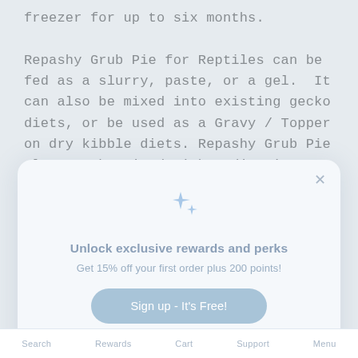freezer for up to six months.

Repashy Grub Pie for Reptiles can be fed as a slurry, paste, or a gel.  It can also be mixed into existing gecko diets, or be used as a Gravy / Topper on dry kibble diets. Repashy Grub Pie also can be mixed with medications to
[Figure (other): Modal popup overlay with sparkle icon, headline 'Unlock exclusive rewards and perks', subtext 'Get 15% off your first order plus 200 points!', a 'Sign up - It's Free!' button, a close X button, and an 'Already have an account? Sign in' link.]
Search   Rewards   Cart   Support   Menu